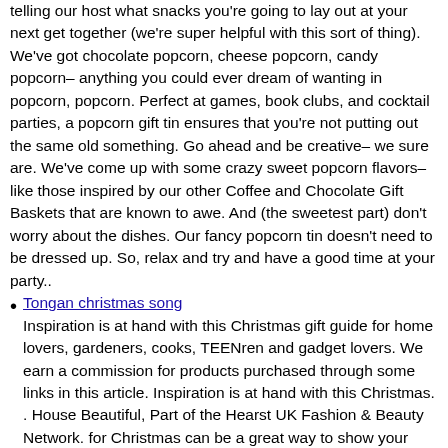...telling our host what snacks you're going to lay out at your next get together (we're super helpful with this sort of thing). We've got chocolate popcorn, cheese popcorn, candy popcorn– anything you could ever dream of wanting in popcorn, popcorn. Perfect at games, book clubs, and cocktail parties, a popcorn gift tin ensures that you're not putting out the same old something. Go ahead and be creative– we sure are. We've come up with some crazy sweet popcorn flavors– like those inspired by our other Coffee and Chocolate Gift Baskets that are known to awe. And (the sweetest part) don't worry about the dishes. Our fancy popcorn tin doesn't need to be dressed up. So, relax and try and have a good time at your party..
Tongan christmas song
Inspiration is at hand with this Christmas gift guide for home lovers, gardeners, cooks, TEENren and gadget lovers. We earn a commission for products purchased through some links in this article. Inspiration is at hand with this Christmas. . House Beautiful, Part of the Hearst UK Fashion & Beauty Network. for Christmas can be a great way to show your thanks and appreciation, you can add your business branding and there are enough goodies and treats to go around. At Gourmet Basket, we sell a wide range of hampers for Christmas gifts and they can all be conveniently ordered online or over the phone. We've been delivering baskets of joy across Australia since 1988, so you can trust